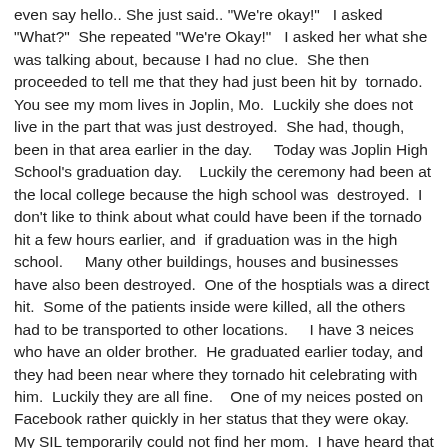even say hello.. She just said.. "We're okay!"  I asked "What?"  She repeated "We're Okay!"  I asked her what she was talking about, because I had no clue.  She then proceeded to tell me that they had just been hit by  tornado.  You see my mom lives in Joplin, Mo.  Luckily she does not live in the part that was just destroyed.  She had, though, been in that area earlier in the day.    Today was Joplin High School's graduation day.   Luckily the ceremony had been at the local college because the high school was  destroyed.  I don't like to think about what could have been if the tornado hit a few hours earlier, and  if graduation was in the high school.    Many other buildings, houses and businesses have also been destroyed.  One of the hosptials was a direct hit.  Some of the patients inside were killed, all the others had to be transported to other locations.    I have 3 neices who have an older brother.  He graduated earlier today, and they had been near where they tornado hit celebrating with him.  Luckily they are all fine.   One of my neices posted on Facebook rather quickly in her status that they were okay.  My SIL temporarily could not find her mom.  I have heard that she  is fine too.